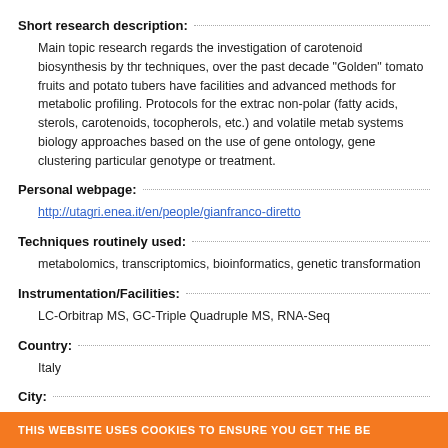Short research description:
Main topic research regards the investigation of carotenoid biosynthesis by thr techniques, over the past decade "Golden" tomato fruits and potato tubers have facilities and advanced methods for metabolic profiling. Protocols for the extrac non-polar (fatty acids, sterols, carotenoids, tocopherols, etc.) and volatile meta systems biology approaches based on the use of gene ontology, gene clusterin particular genotype or treatment.
Personal webpage:
http://utagri.enea.it/en/people/gianfranco-diretto
Techniques routinely used:
metabolomics, transcriptomics, bioinformatics, genetic transformation
Instrumentation/Facilities:
LC-Orbitrap MS, GC-Triple Quadruple MS, RNA-Seq
Country:
Italy
City:
Rome
THIS WEBSITE USES COOKIES TO ENSURE YOU GET THE BE...